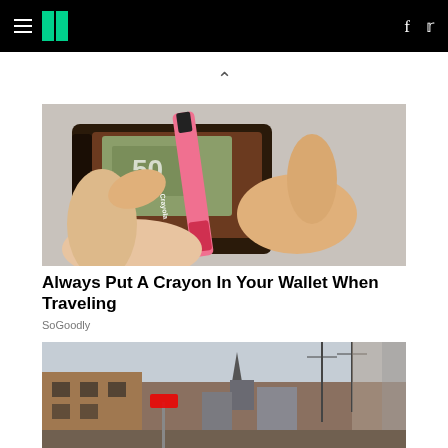HuffPost navigation with hamburger menu, logo, Facebook and Twitter icons
[Figure (photo): Hands holding open a brown leather wallet with a pink Crayola crayon and euro banknote inside, on a white wooden surface]
Always Put A Crayon In Your Wallet When Traveling
SoGoodly
[Figure (photo): Street scene with buildings, utility poles, a city skyline in background with a pointed tower, viewed from a doorway or entrance]